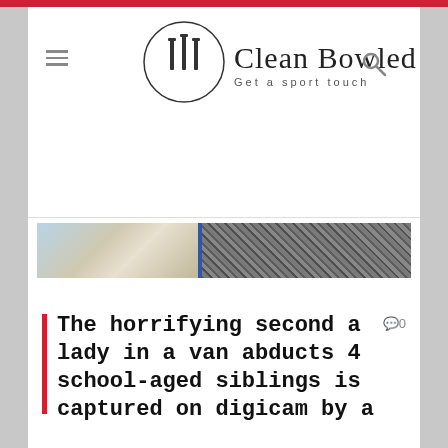Clean Bowled — Get a sport touch
[Figure (photo): Two-panel image strip: left panel shows a blurred outdoor scene with light blue sky and tan/beige tones; right panel shows bare tree branches in black and white]
The horrifying second a lady in a van abducts 4 school-aged siblings is captured on digicam by a